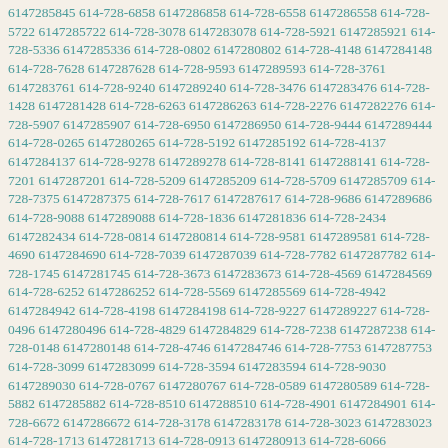6147285845 614-728-6858 6147286858 614-728-6558 6147286558 614-728-5722 6147285722 614-728-3078 6147283078 614-728-5921 6147285921 614-728-5336 6147285336 614-728-0802 6147280802 614-728-4148 6147284148 614-728-7628 6147287628 614-728-9593 6147289593 614-728-3761 6147283761 614-728-9240 6147289240 614-728-3476 6147283476 614-728-1428 6147281428 614-728-6263 6147286263 614-728-2276 6147282276 614-728-5907 6147285907 614-728-6950 6147286950 614-728-9444 6147289444 614-728-0265 6147280265 614-728-5192 6147285192 614-728-4137 6147284137 614-728-9278 6147289278 614-728-8141 6147288141 614-728-7201 6147287201 614-728-5209 6147285209 614-728-5709 6147285709 614-728-7375 6147287375 614-728-7617 6147287617 614-728-9686 6147289686 614-728-9088 6147289088 614-728-1836 6147281836 614-728-2434 6147282434 614-728-0814 6147280814 614-728-9581 6147289581 614-728-4690 6147284690 614-728-7039 6147287039 614-728-7782 6147287782 614-728-1745 6147281745 614-728-3673 6147283673 614-728-4569 6147284569 614-728-6252 6147286252 614-728-5569 6147285569 614-728-4942 6147284942 614-728-4198 6147284198 614-728-9227 6147289227 614-728-0496 6147280496 614-728-4829 6147284829 614-728-7238 6147287238 614-728-0148 6147280148 614-728-4746 6147284746 614-728-7753 6147287753 614-728-3099 6147283099 614-728-3594 6147283594 614-728-9030 6147289030 614-728-0767 6147280767 614-728-0589 6147280589 614-728-5882 6147285882 614-728-8510 6147288510 614-728-4901 6147284901 614-728-6672 6147286672 614-728-3178 6147283178 614-728-3023 6147283023 614-728-1713 6147281713 614-728-0913 6147280913 614-728-6066 6147286066 614-728-9286 6147289286 614-